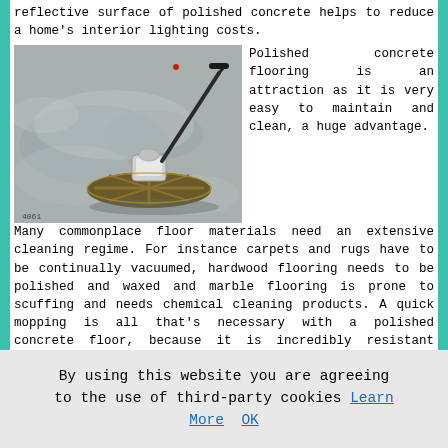reflective surface of polished concrete helps to reduce a home's interior lighting costs.
[Figure (photo): A concrete floor polishing machine (power trowel) on a fresh concrete surface, viewed from above at an angle.]
Polished concrete flooring is an attraction as it is very easy to maintain and clean, a huge advantage. Many commonplace floor materials need an extensive cleaning regime. For instance carpets and rugs have to be continually vacuumed, hardwood flooring needs to be polished and waxed and marble flooring is prone to scuffing and needs chemical cleaning products. A quick mopping is all that's necessary with a polished concrete floor, because it is incredibly resistant against marking and scuffing. Together with the additional convenience of this attribute, time and expense might also be saved.
By using this website you are agreeing to the use of third-party cookies Learn More  OK